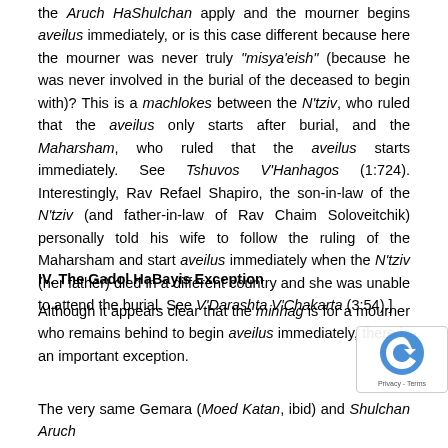the Aruch HaShulchan apply and the mourner begins aveilus immediately, or is this case different because here the mourner was never truly "misya'eish" (because he was never involved in the burial of the deceased to begin with)? This is a machlokes between the N'tziv, who ruled that the aveilus only starts after burial, and the Maharsham, who ruled that the aveilus starts immediately. See Tshuvos V'Hanhagos (1:724). Interestingly, Rav Refael Shapiro, the son-in-law of the N'tziv (and father-in-law of Rav Chaim Soloveitchik) personally told his wife to follow the ruling of the Maharsham and start aveilus immediately when the N'tziv (her father) died in a different country and she was unable to attend the burial. See V'Darashta V'Chakarta (3:54).]
IV. The Gadol HaBayis Exception
Although it appears clear that the minhag is for a mourner who remains behind to begin aveilus immediately, there is an important exception.
The very same Gemara (Moed Katan, ibid) and Shulchan Aruch